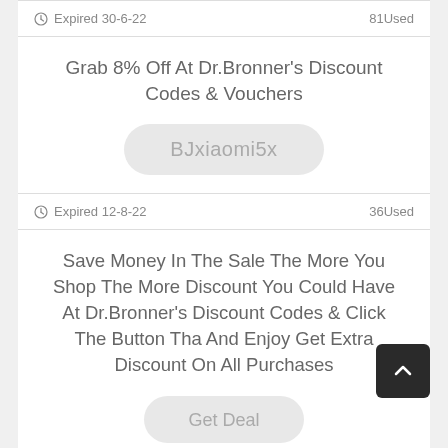Expired 30-6-22   81Used
Grab 8% Off At Dr.Bronner's Discount Codes & Vouchers
BJxiaomi5x
Expired 12-8-22   36Used
Save Money In The Sale The More You Shop The More Discount You Could Have At Dr.Bronner's Discount Codes & Click The Button Tha And Enjoy Get Extra Discount On All Purchases
Get Deal